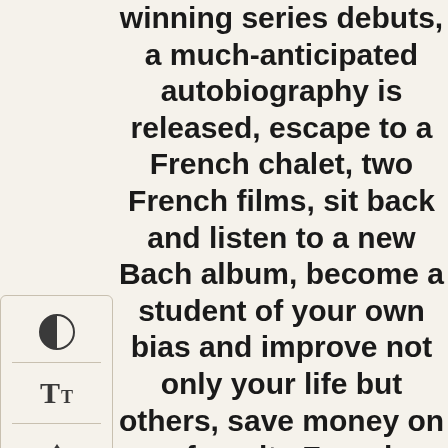winning series debuts, a much-anticipated autobiography is released, escape to a French chalet, two French films, sit back and listen to a new Bach album, become a student of your own bias and improve not only your life but others, save money on a favorite French beauty brand, learn about the life of one of my favorite jazz musicians, invest in a gorgeous fall/winter capsule trench coat, add a pair of lovely cashmere...
[Figure (other): E-reader or app toolbar with contrast toggle icon, font size (Tt) icon, and up arrow navigation icon]